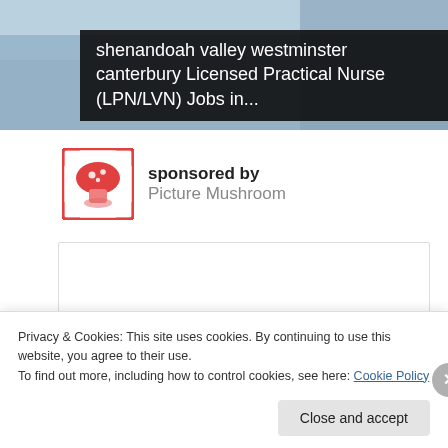[Figure (photo): Screenshot of a webpage showing a job listing banner image with overlay text for nursing jobs]
shenandoah valley westminster canterbury Licensed Practical Nurse (LPN/LVN) Jobs in...
sponsored by Picture Mushroom
[Figure (logo): Picture Mushroom app logo: red mushroom with white spots inside corner bracket frame]
Privacy & Cookies: This site uses cookies. By continuing to use this website, you agree to their use.
To find out more, including how to control cookies, see here: Cookie Policy
Close and accept